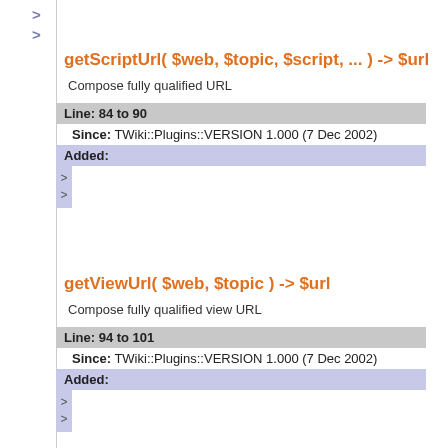>
>
getScriptUrl( $web, $topic, $script, ... ) -> $url
Compose fully qualified URL
Line: 84 to 90
Since: TWiki::Plugins::VERSION 1.000 (7 Dec 2002)
Added:
>
>
getViewUrl( $web, $topic ) -> $url
Compose fully qualified view URL
Line: 94 to 101
Since: TWiki::Plugins::VERSION 1.000 (7 Dec 2002)
Added:
>
>